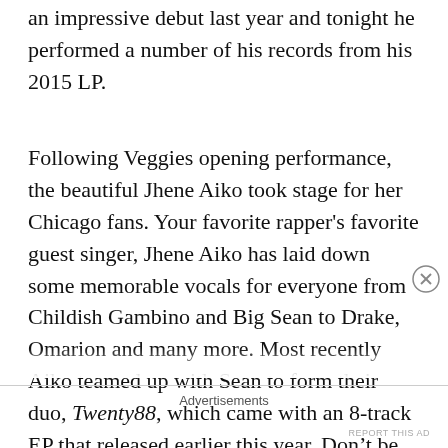an impressive debut last year and tonight he performed a number of his records from his 2015 LP.
Following Veggies opening performance, the beautiful Jhene Aiko took stage for her Chicago fans. Your favorite rapper's favorite guest singer, Jhene Aiko has laid down some memorable vocals for everyone from Childish Gambino and Big Sean to Drake, Omarion and many more. Most recently Aiko teamed up with Sean to form their duo, Twenty88, which came with an 8-track EP that released earlier this year. Don't be under the impression though that Aiko only works best complementing the best rappers in the game, as her solo records are perhaps her
Advertisements